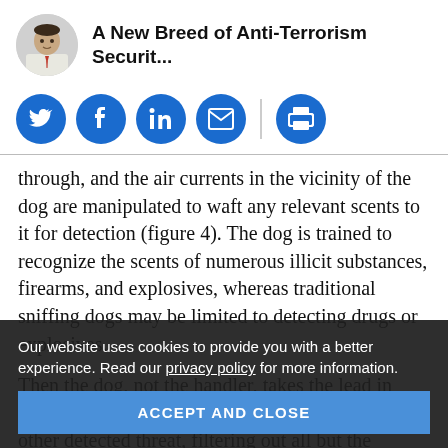A New Breed of Anti-Terrorism Securit...
[Figure (other): Social sharing icons: Twitter, Facebook, LinkedIn, Email, Print — blue circular buttons]
through, and the air currents in the vicinity of the dog are manipulated to waft any relevant scents to it for detection (figure 4). The dog is trained to recognize the scents of numerous illicit substances, firearms, and explosives, whereas traditional sniffing dogs may be limited to detecting drugs or explosives.
Then the dog, not the handler, takes the lead in identifying the source of the illicit substance or other detected threat, filtering out all but the smallest of the scents that are constantly being pushed toward it. The advantage of vapor detection dogs over traditional bomb-sniffing dogs is that vapor detection dogs can
Our website uses cookies to provide you with a better experience. Read our privacy policy for more information.
ACCEPT AND CLOSE